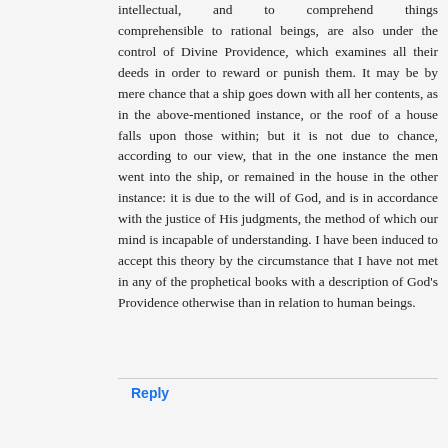intellectual, and to comprehend things comprehensible to rational beings, are also under the control of Divine Providence, which examines all their deeds in order to reward or punish them. It may be by mere chance that a ship goes down with all her contents, as in the above-mentioned instance, or the roof of a house falls upon those within; but it is not due to chance, according to our view, that in the one instance the men went into the ship, or remained in the house in the other instance: it is due to the will of God, and is in accordance with the justice of His judgments, the method of which our mind is incapable of understanding. I have been induced to accept this theory by the circumstance that I have not met in any of the prophetical books with a description of God's Providence otherwise than in relation to human beings.
Reply